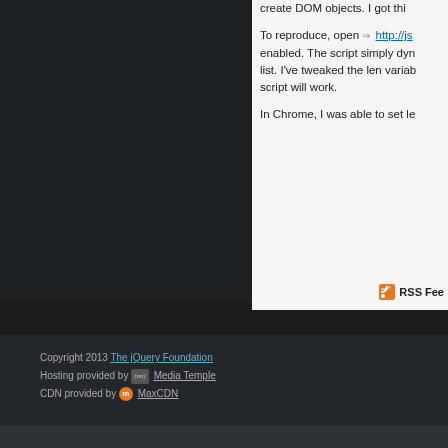create DOM objects. I got thi...
To reproduce, open ⇒ http://js... enabled. The script simply dyn... list. I've tweaked the len variab... script will work.
In Chrome, I was able to set le...
[Figure (logo): RSS Feed icon and label]
Copyright 2013 The jQuery Foundation
Hosting provided by (mt) Media Temple
CDN provided by m MaxCDN